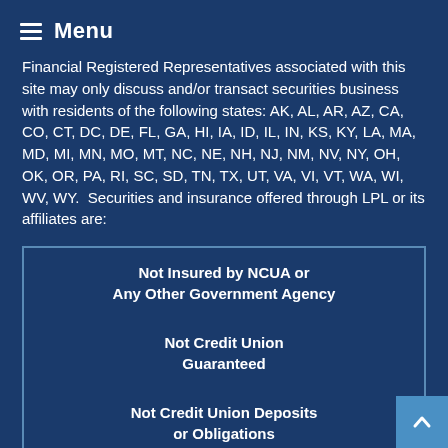Menu
Financial Registered Representatives associated with this site may only discuss and/or transact securities business with residents of the following states: AK, AL, AR, AZ, CA, CO, CT, DC, DE, FL, GA, HI, IA, ID, IL, IN, KS, KY, LA, MA, MD, MI, MN, MO, MT, NC, NE, NH, NJ, NM, NV, NY, OH, OK, OR, PA, RI, SC, SD, TN, TX, UT, VA, VI, VT, WA, WI, WV, WY.  Securities and insurance offered through LPL or its affiliates are:
| Not Insured by NCUA or Any Other Government Agency |
| Not Credit Union Guaranteed |
| Not Credit Union Deposits or Obligations |